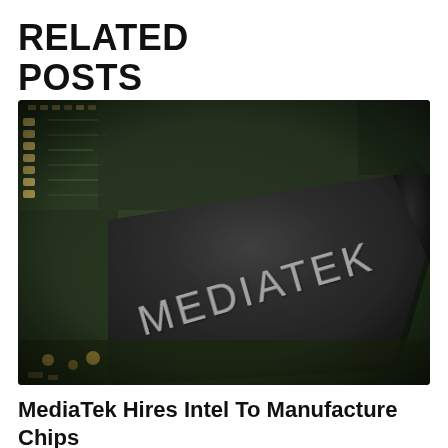RELATED POSTS
[Figure (photo): Close-up photograph of a MediaTek chip/processor on a green circuit board. The dark grey square chip has 'MEDIATEK' printed in silver lettering on its surface, viewed at an angle.]
MediaTek Hires Intel To Manufacture Chips